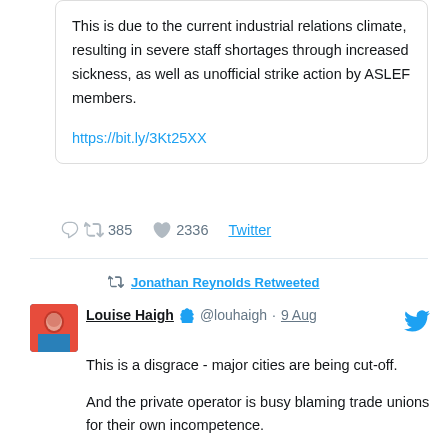This is due to the current industrial relations climate, resulting in severe staff shortages through increased sickness, as well as unofficial strike action by ASLEF members.

https://bit.ly/3Kt25XX
385  2336  Twitter
Jonathan Reynolds Retweeted
Louise Haigh @louhaigh · 9 Aug
This is a disgrace - major cities are being cut-off.

And the private operator is busy blaming trade unions for their own incompetence.

This is pure mismanagement. If they cannot fulfil their contract, they have absolutely no place holding it.